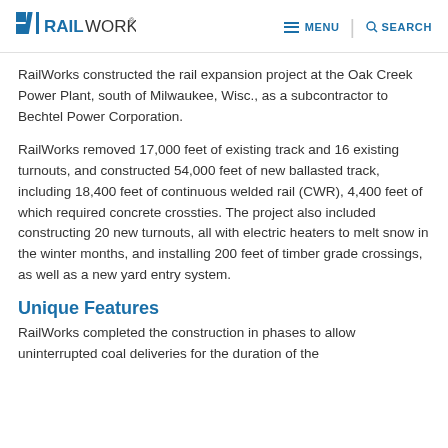RailWorks | MENU | SEARCH
RailWorks constructed the rail expansion project at the Oak Creek Power Plant, south of Milwaukee, Wisc., as a subcontractor to Bechtel Power Corporation.
RailWorks removed 17,000 feet of existing track and 16 existing turnouts, and constructed 54,000 feet of new ballasted track, including 18,400 feet of continuous welded rail (CWR), 4,400 feet of which required concrete crossties. The project also included constructing 20 new turnouts, all with electric heaters to melt snow in the winter months, and installing 200 feet of timber grade crossings, as well as a new yard entry system.
Unique Features
RailWorks completed the construction in phases to allow uninterrupted coal deliveries for the duration of the